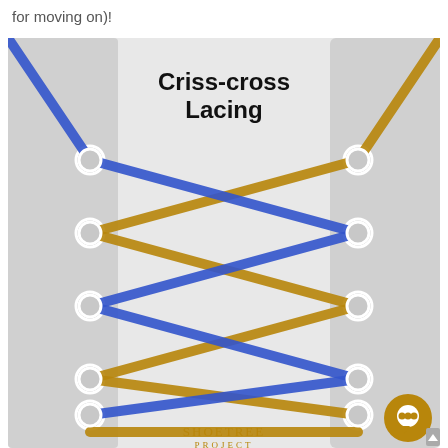for moving on)!
[Figure (illustration): Criss-cross Lacing diagram showing blue and gold/tan shoelaces criss-crossing through eyelets on a shoe tongue. The shoe has a light gray body with a lighter gray tongue in the center. Two laces — one blue and one gold/dark yellow — alternate crossing over each other through six rows of eyelets on each side. Title 'Criss-cross Lacing' appears in bold black text at the top center. 'ShoeTree Project' branding appears at the bottom center. A chat bubble icon appears at the bottom right.]